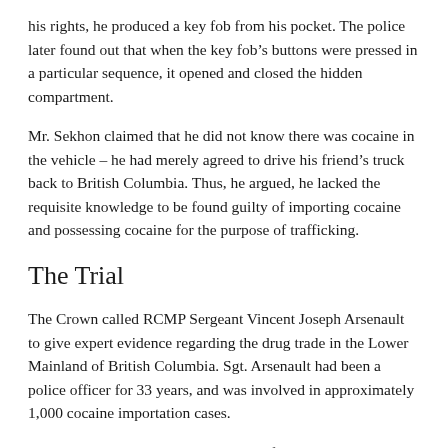his rights, he produced a key fob from his pocket. The police later found out that when the key fob's buttons were pressed in a particular sequence, it opened and closed the hidden compartment.
Mr. Sekhon claimed that he did not know there was cocaine in the vehicle – he had merely agreed to drive his friend's truck back to British Columbia. Thus, he argued, he lacked the requisite knowledge to be found guilty of importing cocaine and possessing cocaine for the purpose of trafficking.
The Trial
The Crown called RCMP Sergeant Vincent Joseph Arsenault to give expert evidence regarding the drug trade in the Lower Mainland of British Columbia. Sgt. Arsenault had been a police officer for 33 years, and was involved in approximately 1,000 cocaine importation cases.
The trial judge relied on 3 key pieces of circumstantial